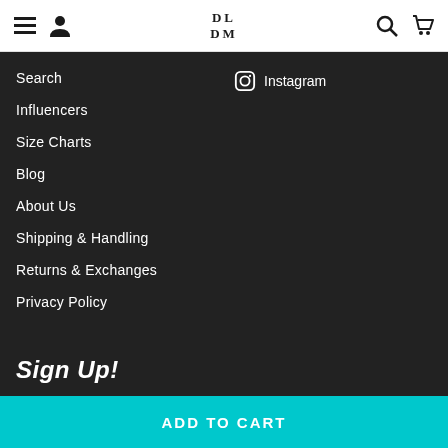DL DM [logo with hamburger, user, search, cart icons]
Search
Instagram
Influencers
Size Charts
Blog
About Us
Shipping & Handling
Returns & Exchanges
Privacy Policy
Sign Up!
ADD TO CART